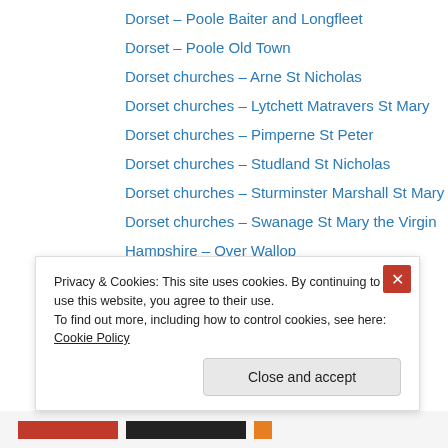Dorset – Poole Baiter and Longfleet
Dorset – Poole Old Town
Dorset churches – Arne St Nicholas
Dorset churches – Lytchett Matravers St Mary
Dorset churches – Pimperne St Peter
Dorset churches – Studland St Nicholas
Dorset churches – Sturminster Marshall St Mary
Dorset churches – Swanage St Mary the Virgin
Hampshire – Over Wallop
Hampshire – Romsey
Hampshire – Winchester
Wales – Llangendeirne
Wales – Pembrey old canal
Privacy & Cookies: This site uses cookies. By continuing to use this website, you agree to their use.
To find out more, including how to control cookies, see here: Cookie Policy